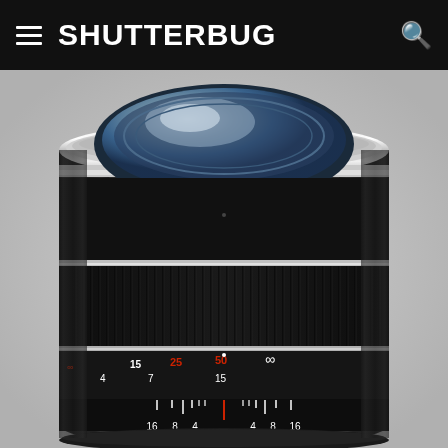SHUTTERBUG
[Figure (photo): Close-up product photo of a Zeiss camera lens (black with silver accents) showing the focus distance scale and depth-of-field markings. The focus ring shows distances: 4, 15, 25, 50 (infinity) and corresponding feet values 7, 15; aperture depth-of-field scale shows 16, 8, 4, 4, 8, 16. The lens has a ribbed rubber focusing grip band.]